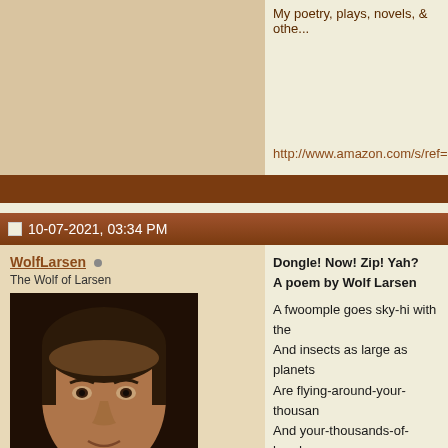My poetry, plays, novels, & othe...
http://www.amazon.com/s/ref=n...
10-07-2021, 03:34 PM
WolfLarsen
The Wolf of Larsen
[Figure (photo): Avatar photo of WolfLarsen, a man with dark hair looking at the camera against a dark background]
| Join Date: | Nov 2005 |
| Location: | Creating a new universe |
| Posts: | 1,993 |
| Blog Entries: | 93 |
Dongle! Now! Zip! Yah?
A poem by Wolf Larsen

A fwoomple goes sky-hi with the
And insects as large as planets
Are flying-around-your-thousan
And your-thousands-of-heads a
And the conveyor belt is flying a
And you're urinating the English
All over the walls & ceiling of yo
And now letters are dripping eve

Copyright 2021 by Wolf Larsen